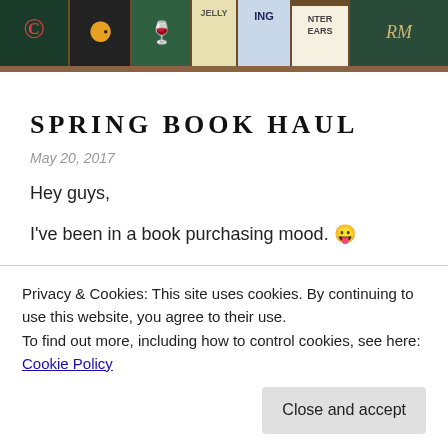[Figure (photo): A row of colorful book spines on a wooden shelf, showing partial titles and cover art in green, orange, yellow, and dark colors.]
SPRING BOOK HAUL
May 20, 2017
Hey guys,
I've been in a book purchasing mood. 😛
If you're a reader fan than you're probably saying to yourself: "I'm ALWAYS in a book purchasing mood." And I feel ya! But I just came across an Amazon
Privacy & Cookies: This site uses cookies. By continuing to use this website, you agree to their use.
To find out more, including how to control cookies, see here: Cookie Policy